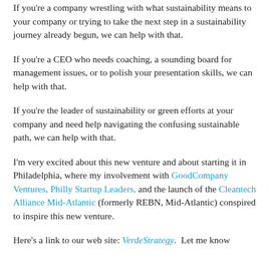your concept in a simple, compelling way, we can help with that.
If you're a company wrestling with what sustainability means to your company or trying to take the next step in a sustainability journey already begun, we can help with that.
If you're a CEO who needs coaching, a sounding board for management issues, or to polish your presentation skills, we can help with that.
If you're the leader of sustainability or green efforts at your company and need help navigating the confusing sustainable path, we can help with that.
I'm very excited about this new venture and about starting it in Philadelphia, where my involvement with GoodCompany Ventures, Philly Startup Leaders, and the launch of the Cleantech Alliance Mid-Atlantic (formerly REBN, Mid-Atlantic) conspired to inspire this new venture.
Here's a link to our web site: VerdeStrategy.  Let me know